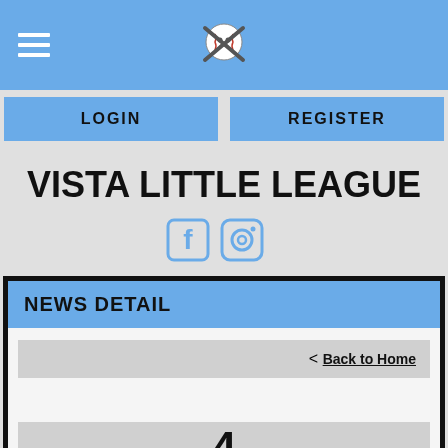Vista Little League - Navigation bar with hamburger menu and logo
LOGIN | REGISTER
VISTA LITTLE LEAGUE
[Figure (logo): Facebook and Instagram social media icons in blue]
NEWS DETAIL
< Back to Home
4